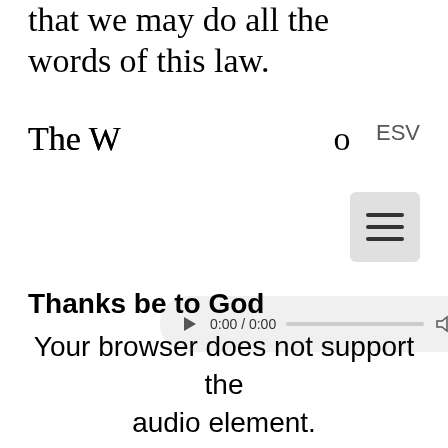that we may do all the words of this law.
The W...
ESV
[Figure (screenshot): Browser audio player widget showing 0:00 / 0:00 with play button, progress bar, volume and options icons]
[Figure (other): Hamburger menu icon button (three horizontal lines on grey background)]
Thanks be to God
Your browser does not support the audio element.
A brief silence is kept after the reading.
Please pause the service if you would like more time.